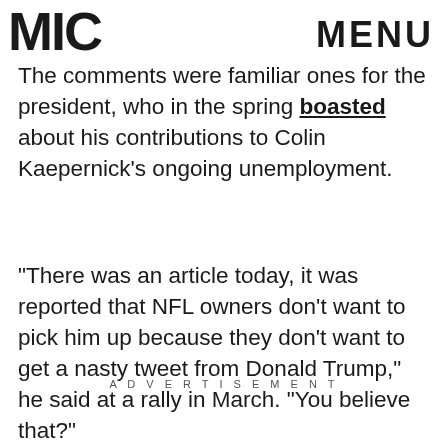MIC  MENU
The comments were familiar ones for the president, who in the spring boasted about his contributions to Colin Kaepernick’s ongoing unemployment.
“There was an article today, it was reported that NFL owners don’t want to pick him up because they don’t want to get a nasty tweet from Donald Trump,” he said at a rally in March. “You believe that?”
ADVERTISEMENT